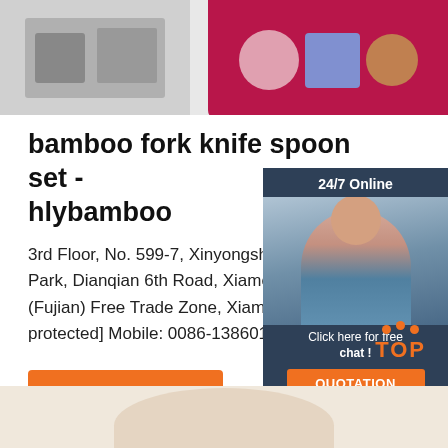[Figure (screenshot): Top banner area with two product image panels on a light grey background. Left panel shows a dark appliance/machine. Right panel has a pink/magenta background with food items.]
bamboo fork knife spoon set - hlybamboo
3rd Floor, No. 599-7, Xinyongsheng Industrial Park, Dianqian 6th Road, Xiamen Area (Fujian) Free Trade Zone, Xiamen; Em[protected] Mobile: 0086-13860167968
[Figure (screenshot): 24/7 Online chat widget with dark navy background, showing a female customer service agent with headset, text 'Click here for free chat!' and an orange QUOTATION button]
[Figure (other): Get Price orange button]
[Figure (other): Orange dotted triangle TOP navigation button]
[Figure (photo): Bottom strip showing a product image on a light beige/cream background, partial view of a rounded product shape]